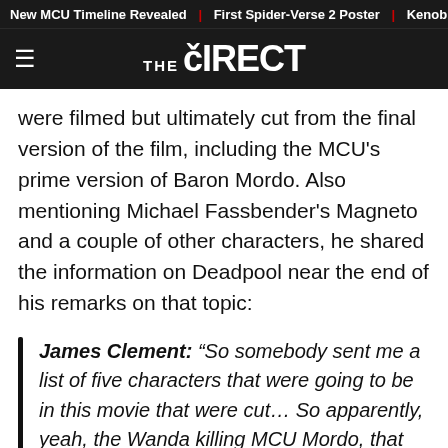New MCU Timeline Revealed | First Spider-Verse 2 Poster | Kenob
THE DIRECT
were filmed but ultimately cut from the final version of the film, including the MCU's prime version of Baron Mordo. Also mentioning Michael Fassbender's Magneto and a couple of other characters, he shared the information on Deadpool near the end of his remarks on that topic:
James Clement: “So somebody sent me a list of five characters that were going to be in this movie that were cut… So apparently, yeah, the Wanda killing MCU Mordo, that